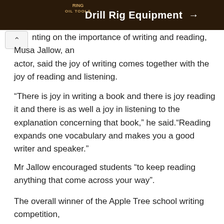[Figure (photo): Dark brown advertisement banner for Ring Oil Tools Drill Rig Equipment with arrow]
enting on the importance of writing and reading, Musa Jallow, an actor, said the joy of writing comes together with the joy of reading and listening.
“There is joy in writing a book and there is joy reading it and there is as well a joy in listening to the explanation concerning that book,” he said.“Reading expands one vocabulary and makes you a good writer and speaker.”
Mr Jallow encouraged students “to keep reading anything that come across your way”.
The overall winner of the Apple Tree school writing competition, Mariama Jeng, a grade 11 student, expressed her excitement for winning the award, saying: “I never thought of winning the competition.”
She added:“Initially, I was hesitating to join the competition but mum inspired me to participate and she encouraged me to believe that I can win. Finally, I have won.”